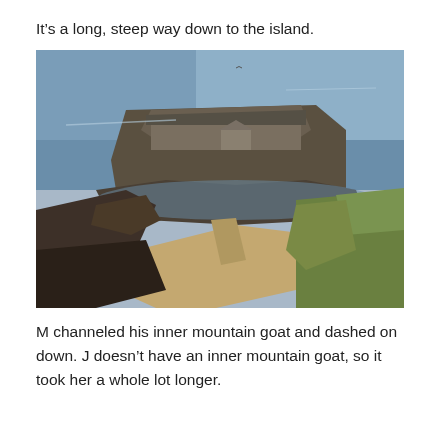It’s a long, steep way down to the island.
[Figure (photo): Aerial view looking down a steep hillside path toward a rocky island fortress surrounded by blue sea. The island has stone ruins and structures on top, with rocky shoreline and green grass in the foreground.]
M channeled his inner mountain goat and dashed on down. J doesn’t have an inner mountain goat, so it took her a whole lot longer.